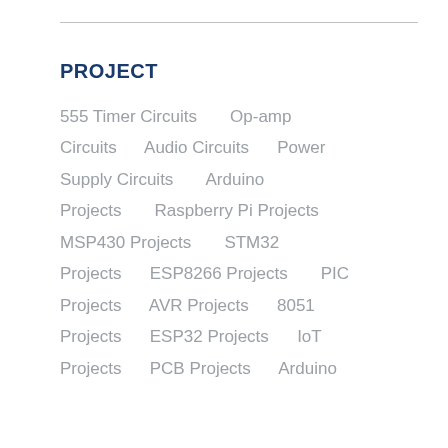PROJECT
555 Timer Circuits  Op-amp Circuits  Audio Circuits  Power Supply Circuits  Arduino Projects  Raspberry Pi Projects  MSP430 Projects  STM32 Projects  ESP8266 Projects  PIC Projects  AVR Projects  8051 Projects  ESP32 Projects  IoT Projects  PCB Projects  Arduino